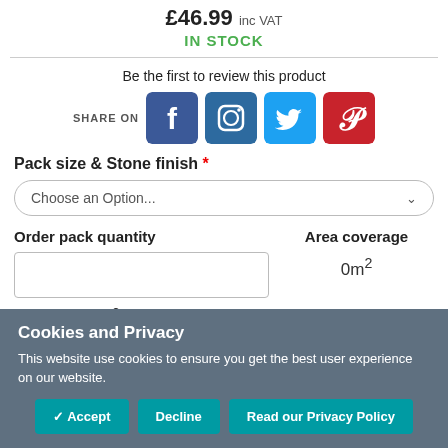£46.99 inc VAT
IN STOCK
Be the first to review this product
[Figure (infographic): Social media share icons for Facebook, Instagram, Twitter, and Pinterest with SHARE ON label]
Pack size & Stone finish *
Choose an Option...
Order pack quantity
Area coverage
0m²
Order extra m²
Area coverage
Cookies and Privacy
This website use cookies to ensure you get the best user experience on our website.
✓ Accept | Decline | Read our Privacy Policy